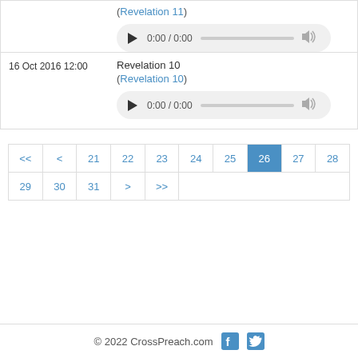(Revelation 11)
[Figure (other): Audio player with play button, time 0:00 / 0:00, progress bar, and volume icon]
16 Oct 2016 12:00
Revelation 10
(Revelation 10)
[Figure (other): Audio player with play button, time 0:00 / 0:00, progress bar, and volume icon]
<< < 21 22 23 24 25 26 27 28
29 30 31 > >>
© 2022 CrossPreach.com